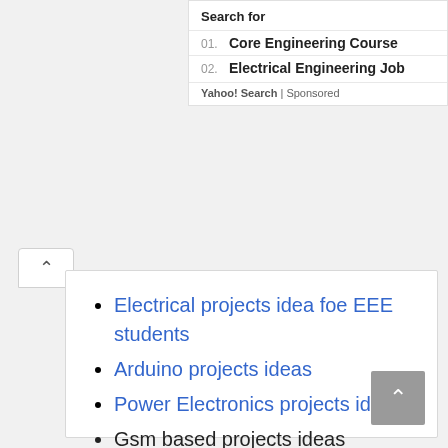Search for
01. Core Engineering Course
02. Electrical Engineering Job
Yahoo! Search | Sponsored
Electrical projects idea foe EEE students
Arduino projects ideas
Power Electronics projects ideas
Gsm based projects ideas